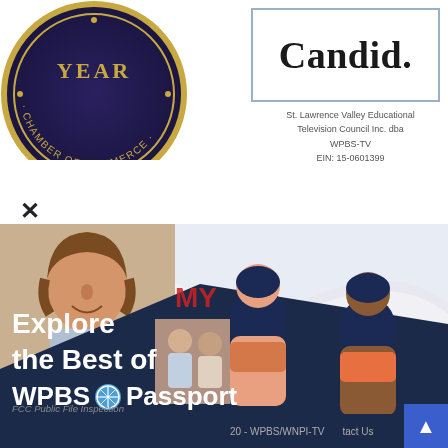[Figure (logo): Chamber of Commerce seal/badge with 'YEAR' text and gold border on dark navy background, partially cropped]
[Figure (logo): Candid. logo in black bold text inside a light blue bordered rectangle]
St. Lawrence Valley Educational Television Council Inc. dba WPBS-TV EIN: 15-0601399
[Figure (screenshot): Website screenshot showing promotional content for WPBS Passport with a person's portrait, illustrated characters, and navigation bar. Text reads: Explore the Best of WPBS Passport. Navigation includes 2020 - WPBS/WNPI-TV and Contact Us. FCC Public File Inspection link visible at bottom.]